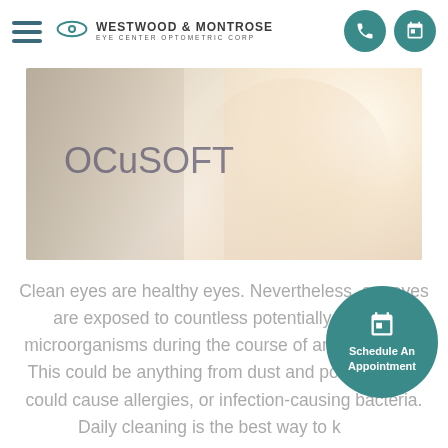Westwood & Montrose Eye Center Optometric Corp
[Figure (photo): OCuSOFT promotional banner image with woman in white top looking upward in bright light]
Clean eyes are healthy eyes. Nevertheless, our eyes are exposed to countless potentially harmful microorganisms during the course of any given day. This could be anything from dust and pollen, which could cause allergies, or infection-causing bacteria. Daily cleaning is the best way to keep...